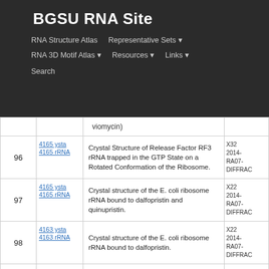BGSU RNA Site — Navigation: RNA Structure Atlas | Representative Sets | RNA 3D Motif Atlas | Resources | Links | Search
| # | ID / Link | Description | Info |
| --- | --- | --- | --- |
|  |  | viomycin) |  |
| 96 | 4165 / 4165 rRNA | Crystal Structure of Release Factor RF3 rRNA trapped in the GTP State on a Rotated Conformation of the Ribosome. | X322014-RA07-DIFFRAC |
| 97 | 4165 / 4165 rRNA | Crystal structure of the E. coli ribosome rRNA bound to dalfopristin and quinupristin. | X228 2014-RA07-DIFFRAC |
| 98 | 4163 / 4163 rRNA | Crystal structure of the E. coli ribosome rRNA bound to dalfopristin. | X229 2014-RA07-DIFFRAC |
| 99 | 3JCN / rRNA | Activation of GTP Hydrolysis in mRNA-tRNA Translocation by Elongation Factor... | E3250 15RI... |